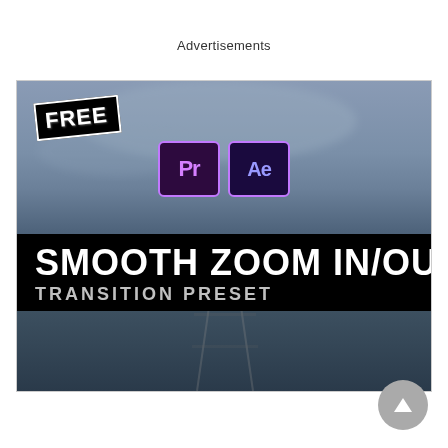Advertisements
[Figure (screenshot): Promotional banner for a free Smooth Zoom In/Out Transition Preset for Adobe Premiere Pro and After Effects. Dark blurred lake/dock background, FREE badge in top-left, Pr and Ae logos in center-top, large bold text reading SMOOTH ZOOM IN/OUT TRANSITION PRESET on black band.]
[Figure (other): Gray circular scroll-to-top button with upward triangle arrow in bottom-right corner.]